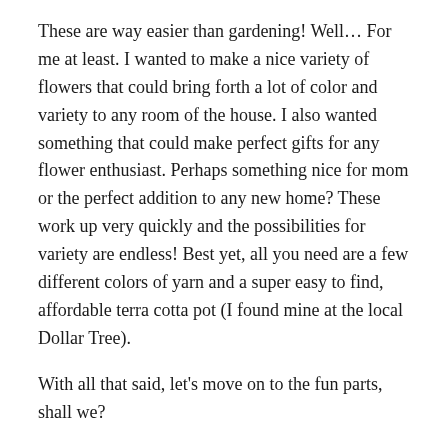These are way easier than gardening! Well... For me at least. I wanted to make a nice variety of flowers that could bring forth a lot of color and variety to any room of the house. I also wanted something that could make perfect gifts for any flower enthusiast. Perhaps something nice for mom or the perfect addition to any new home? These work up very quickly and the possibilities for variety are endless! Best yet, all you need are a few different colors of yarn and a super easy to find, affordable terra cotta pot (I found mine at the local Dollar Tree).
With all that said, let's move on to the fun parts, shall we?
Abbreviations:
Ch- chain